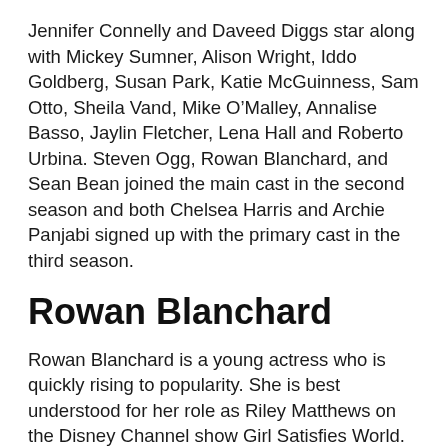Jennifer Connelly and Daveed Diggs star along with Mickey Sumner, Alison Wright, Iddo Goldberg, Susan Park, Katie McGuinness, Sam Otto, Sheila Vand, Mike O'Malley, Annalise Basso, Jaylin Fletcher, Lena Hall and Roberto Urbina. Steven Ogg, Rowan Blanchard, and Sean Bean joined the main cast in the second season and both Chelsea Harris and Archie Panjabi signed up with the primary cast in the third season.
Rowan Blanchard
Rowan Blanchard is a young actress who is quickly rising to popularity. She is best understood for her role as Riley Matthews on the Disney Channel show Girl Satisfies World. Rowan has been nominated for her performance...